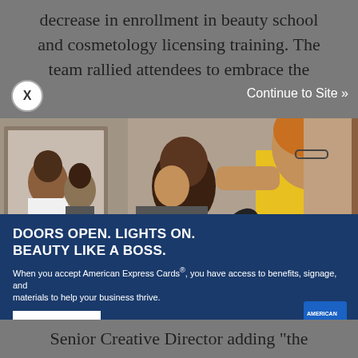decrease in enrollment in beauty school and cosmetology licensing training. The team rallied attendees to embrace the
[Figure (photo): Advertisement screenshot: A hair salon scene showing a stylist in a yellow top using a hair dryer on a client with dark hair, with another person visible in a mirror in the background. Below the photo is a dark blue section with the text 'DOORS OPEN. LIGHTS ON. BEAUTY LIKE A BOSS.' and a subtext about American Express Cards benefits, a 'Learn More' button, and the American Express logo.]
Senior Creative Director adding "the